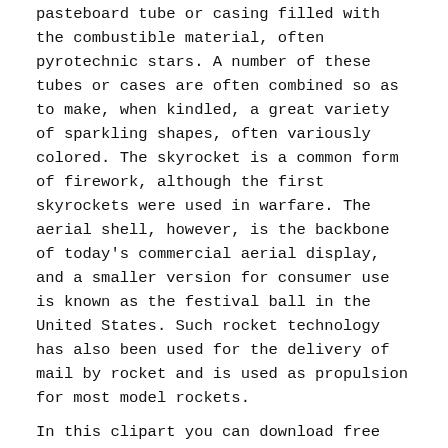pasteboard tube or casing filled with the combustible material, often pyrotechnic stars. A number of these tubes or cases are often combined so as to make, when kindled, a great variety of sparkling shapes, often variously colored. The skyrocket is a common form of firework, although the first skyrockets were used in warfare. The aerial shell, however, is the backbone of today's commercial aerial display, and a smaller version for consumer use is known as the festival ball in the United States. Such rocket technology has also been used for the delivery of mail by rocket and is used as propulsion for most model rockets.
In this clipart you can download free PNG images:
Fireworks PNG images free download
Keywords: Fireworks PNG, Fireworks PNG images, PNG image: Fireworks PNG, free PNG image, Fireworks
Image category: Fireworks
Format: PNG image with alpha (transparent)